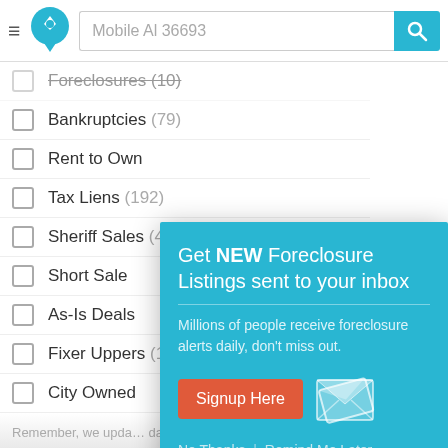Mobile Al 36693
Foreclosures (?)
Bankruptcies (79)
Rent to Own
Tax Liens (192)
Sheriff Sales (4)
Short Sale
As-Is Deals
Fixer Uppers (1...)
City Owned
Remember, we upda... daily!
Related Web
Repodirect.com - Online auction for boats, cars, jet skis etc.
[Figure (screenshot): Popup modal with cyan/teal background: 'Get NEW Foreclosure Listings sent to your inbox. Millions of people receive foreclosure alerts daily, don't miss out.' with a red Signup Here button, envelope icon, and 'No Thanks | Remind Me Later' link.]